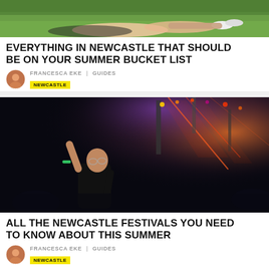[Figure (photo): People lying on grass, leisure outdoor scene, summer]
EVERYTHING IN NEWCASTLE THAT SHOULD BE ON YOUR SUMMER BUCKET LIST
FRANCESCA EKE | GUIDES
NEWCASTLE
[Figure (photo): Person at night festival with arm raised, stage lights and concert atmosphere in background]
ALL THE NEWCASTLE FESTIVALS YOU NEED TO KNOW ABOUT THIS SUMMER
FRANCESCA EKE | GUIDES
NEWCASTLE